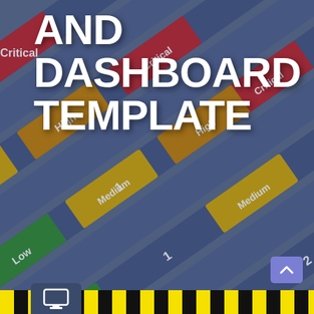[Figure (infographic): Risk register and dashboard template cover page showing a diagonal risk matrix background with colored strips labeled Critical (red), High (orange/gold), Medium (yellow), Low (green), and numeric values (1, 2, 5, 7). Large white bold text reads 'AND DASHBOARD TEMPLATE' overlaid on the matrix graphic. Bottom has a yellow/black hazard stripe bar and a purple scroll-to-top button.]
AND DASHBOARD TEMPLATE